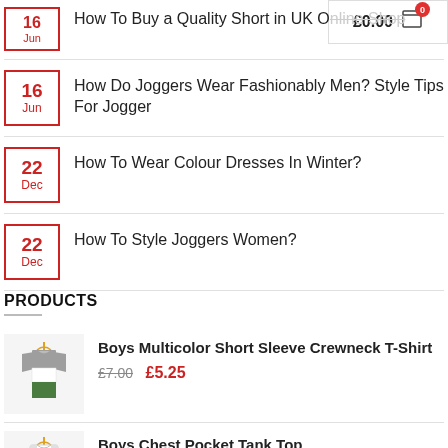£0.00  0
16 Jun — How To Buy a Quality Short in UK Online Shop
16 Jun — How Do Joggers Wear Fashionably Men? Style Tips For Jogger
22 Dec — How To Wear Colour Dresses In Winter?
22 Dec — How To Style Joggers Women?
PRODUCTS
Boys Multicolor Short Sleeve Crewneck T-Shirt  £7.00  £5.25
Boys Chest Pocket Tank Top